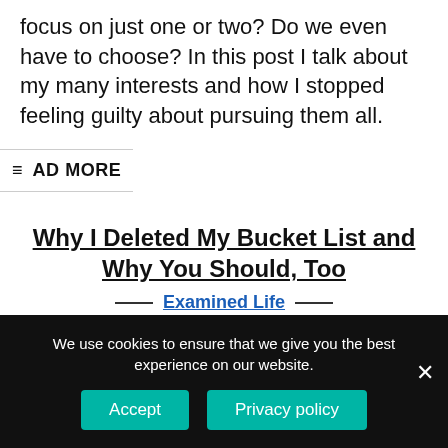focus on just one or two? Do we even have to choose? In this post I talk about my many interests and how I stopped feeling guilty about pursuing them all.
READ MORE
Why I Deleted My Bucket List and Why You Should, Too
Examined Life
So one fine day I was looking at my Bucket list, all the
We use cookies to ensure that we give you the best experience on our website.